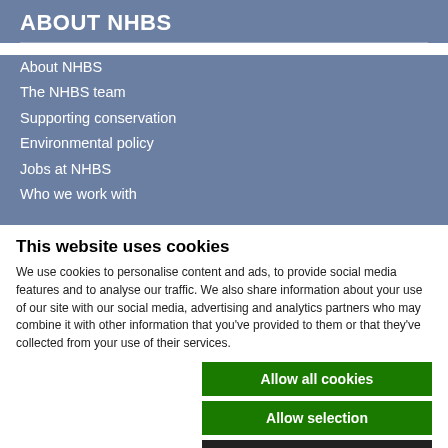ABOUT NHBS
About NHBS
The NHBS team
Supporting conservation
Environmental policy
Jobs at NHBS
Who we work with
This website uses cookies
We use cookies to personalise content and ads, to provide social media features and to analyse our traffic. We also share information about your use of our site with our social media, advertising and analytics partners who may combine it with other information that you've provided to them or that they've collected from your use of their services.
Allow all cookies
Allow selection
Use necessary cookies only
Necessary  Preferences  Statistics  Marketing  Show details